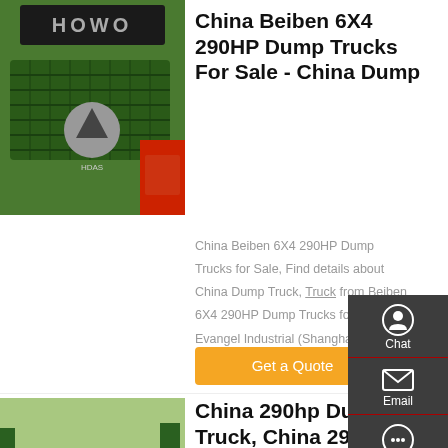[Figure (photo): Close-up front grille of a green Howo truck with red truck visible in background]
China Beiben 6X4 290HP Dump Trucks For Sale - China Dump
China Beiben 6X4 290HP Dump Trucks for Sale, Find details about China Dump Truck, Truck from Beiben 6X4 290HP Dump Trucks for Sale - Evangel Industrial (Shanghai) Co., Ltd.
Get a Quote
[Figure (photo): Red and blue dump trucks parked outdoors with trees in background]
China 290hp Dump Truck, China 290hp Dump Truck